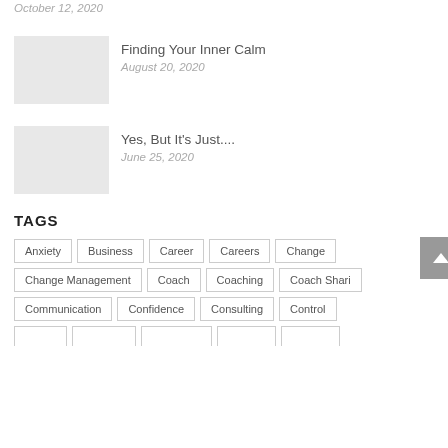October 12, 2020
Finding Your Inner Calm
August 20, 2020
Yes, But It's Just....
June 25, 2020
TAGS
Anxiety
Business
Career
Careers
Change
Change Management
Coach
Coaching
Coach Shari
Communication
Confidence
Consulting
Control